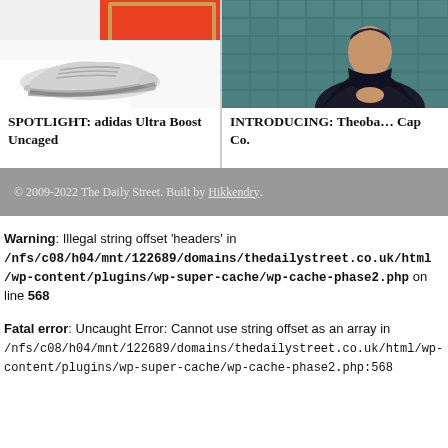[Figure (photo): Photo of adidas Ultra Boost Uncaged sneaker on white surface with red/orange background]
SPOTLIGHT: adidas Ultra Boost Uncaged
[Figure (photo): Photo of a person in dark hoodie sitting against a teal tiled wall]
INTRODUCING: Theoba… Cap Co.
© 2009-2022 The Daily Street. Built by Hikkendry.
Warning: Illegal string offset 'headers' in /nfs/c08/h04/mnt/122689/domains/thedailystreet.co.uk/html/wp-content/plugins/wp-super-cache/wp-cache-phase2.php on line 568
Fatal error: Uncaught Error: Cannot use string offset as an array in /nfs/c08/h04/mnt/122689/domains/thedailystreet.co.uk/html/wp-content/plugins/wp-super-cache/wp-cache-phase2.php:568